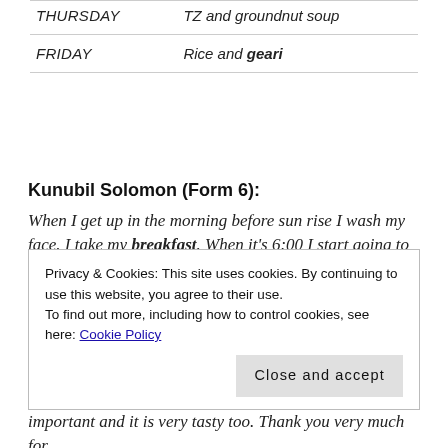| Day | Meal |
| --- | --- |
| THURSDAY | TZ and groundnut soup |
| FRIDAY | Rice and geari |
Kunubil Solomon (Form 6):
When I get up in the morning before sun rise I wash my face. I take my breakfast. When it's 6:00 I start going to school. When it's 6:30 we will start sweeping the compound and picking the garbage.
Privacy & Cookies: This site uses cookies. By continuing to use this website, you agree to their use. To find out more, including how to control cookies, see here: Cookie Policy
important and it is very tasty too. Thank you very much for